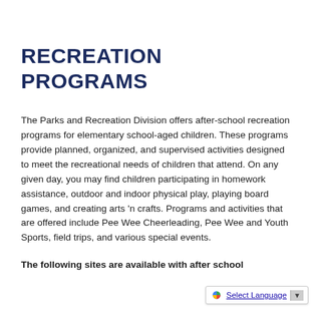RECREATION PROGRAMS
The Parks and Recreation Division offers after-school recreation programs for elementary school-aged children. These programs provide planned, organized, and supervised activities designed to meet the recreational needs of children that attend. On any given day, you may find children participating in homework assistance, outdoor and indoor physical play, playing board games, and creating arts 'n crafts. Programs and activities that are offered include Pee Wee Cheerleading, Pee Wee and Youth Sports, field trips, and various special events.
The following sites are available with after school